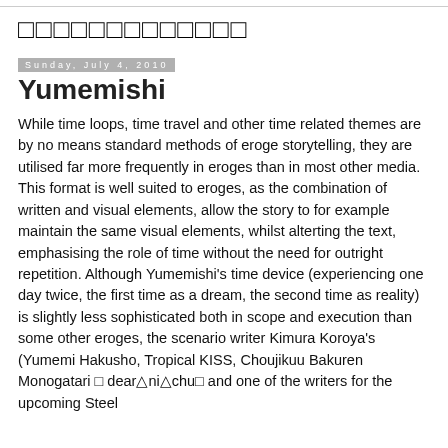□□□□□□□□□□□□□
Sunday, July 4, 2010
Yumemishi
While time loops, time travel and other time related themes are by no means standard methods of eroge storytelling, they are utilised far more frequently in eroges than in most other media. This format is well suited to eroges, as the combination of written and visual elements, allow the story to for example maintain the same visual elements, whilst alterting the text, emphasising the role of time without the need for outright repetition. Although Yumemishi's time device (experiencing one day twice, the first time as a dream, the second time as reality) is slightly less sophisticated both in scope and execution than some other eroges, the scenario writer Kimura Koroya's (Yumemi Hakusho, Tropical KISS, Choujikuu Bakuren Monogatari □ dear△ni△chu□ and one of the writers for the upcoming Steel